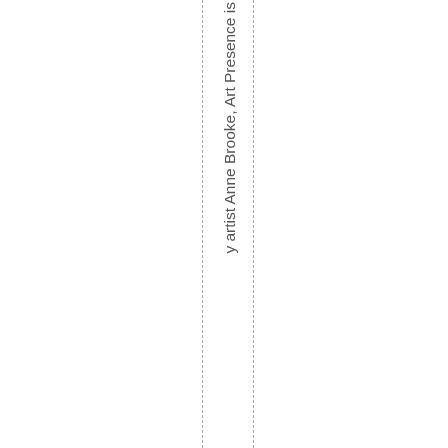y artist Anne Brooke, Art Presence is